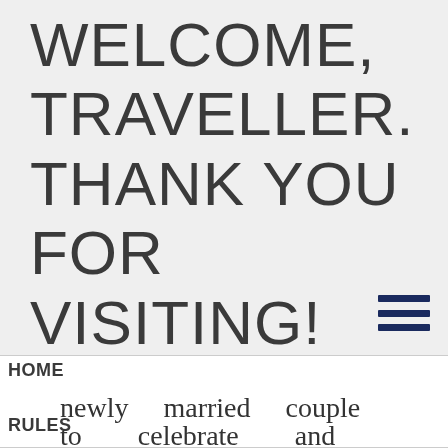WELCOME, TRAVELLER. THANK YOU FOR VISITING! PLEASE LOGIN OR REGISTER.
newly married couple to celebrate and
HOME
RULES